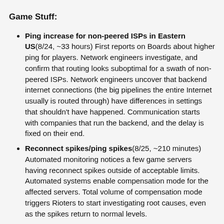Game Stuff:
Ping increase for non-peered ISPs in Eastern US(8/24, ~33 hours) First reports on Boards about higher ping for players. Network engineers investigate, and confirm that routing looks suboptimal for a swath of non-peered ISPs. Network engineers uncover that backend internet connections (the big pipelines the entire Internet usually is routed through) have differences in settings that shouldn't have happened. Communication starts with companies that run the backend, and the delay is fixed on their end.
Reconnect spikes/ping spikes(8/25, ~210 minutes) Automated monitoring notices a few game servers having reconnect spikes outside of acceptable limits. Automated systems enable compensation mode for the affected servers. Total volume of compensation mode triggers Rioters to start investigating root causes, even as the spikes return to normal levels.